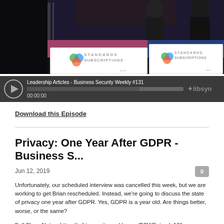[Figure (screenshot): Video thumbnail showing a conference stage with two screens displaying 'STANDARDS SUBSCRIPTIONS' with colorful logo and ANSI branding]
[Figure (screenshot): Audio player bar showing 'Leadership Articles - Business Security Weekly #131' with play button, progress bar showing 00:00:00, and libsyn logo]
Download this Episode
Privacy: One Year After GDPR - Business S...
Jun 12, 2019
Unfortunately, our scheduled interview was cancelled this week, but we are working to get Brian rescheduled. Instead, we're going to discuss the state of privacy one year after GDPR. Yes, GDPR is a year old. Are things better, worse, or the same?
Full Show Notes: https://wiki.securityweekly.com/BSWEpisode131